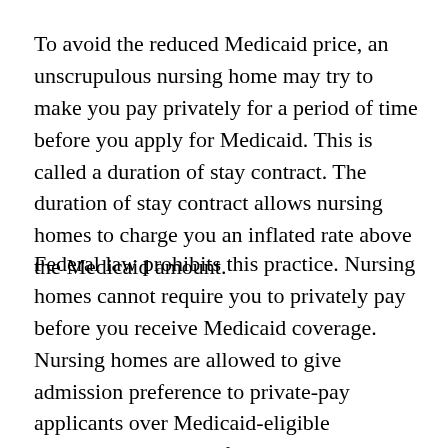To avoid the reduced Medicaid price, an unscrupulous nursing home may try to make you pay privately for a period of time before you apply for Medicaid. This is called a duration of stay contract. The duration of stay contract allows nursing homes to charge you an inflated rate above the Medicaid amount.
Federal law prohibits this practice. Nursing homes cannot require you to privately pay before you receive Medicaid coverage. Nursing homes are allowed to give admission preference to private-pay applicants over Medicaid-eligible applicants, but only after the home has reached nearly maximum capacity. In